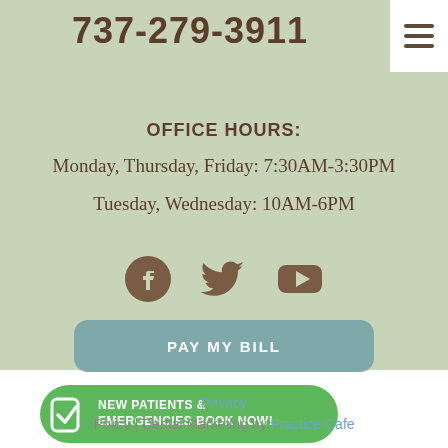737-279-3911
OFFICE HOURS:
Monday, Thursday, Friday: 7:30AM-3:30PM
Tuesday, Wednesday: 10AM-6PM
[Figure (illustration): Social media icons: Facebook, Twitter, YouTube in brown color]
PAY MY BILL
NEW PATIENTS & EMERGENCIES BOOK NOW!
Privacy Policy | Dental Marketing by Practice Cafe